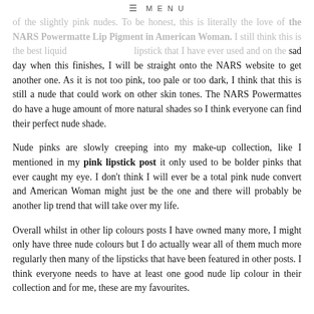≡ MENU
of the slightly pink nudes. To be honest, this is literally the love of the NARS Powermatte Lip Pigment in American Woman. I still think this is the best liquid lipstick that I have ever used and on the sad day when this finishes, I will be straight onto the NARS website to get another one. As it is not too pink, too pale or too dark, I think that this is still a nude that could work on other skin tones. The NARS Powermattes do have a huge amount of more natural shades so I think everyone can find their perfect nude shade.
Nude pinks are slowly creeping into my make-up collection, like I mentioned in my pink lipstick post it only used to be bolder pinks that ever caught my eye. I don't think I will ever be a total pink nude convert and American Woman might just be the one and there will probably be another lip trend that will take over my life.
Overall whilst in other lip colours posts I have owned many more, I might only have three nude colours but I do actually wear all of them much more regularly then many of the lipsticks that have been featured in other posts. I think everyone needs to have at least one good nude lip colour in their collection and for me, these are my favourites.